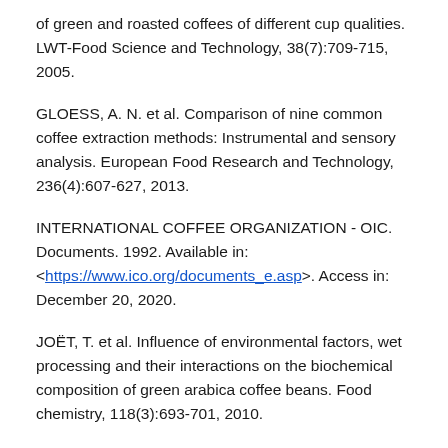of green and roasted coffees of different cup qualities. LWT-Food Science and Technology, 38(7):709-715, 2005.
GLOESS, A. N. et al. Comparison of nine common coffee extraction methods: Instrumental and sensory analysis. European Food Research and Technology, 236(4):607-627, 2013.
INTERNATIONAL COFFEE ORGANIZATION - OIC. Documents. 1992. Available in: <https://www.ico.org/documents_e.asp>. Access in: December 20, 2020.
JOËT, T. et al. Influence of environmental factors, wet processing and their interactions on the biochemical composition of green arabica coffee beans. Food chemistry, 118(3):693-701, 2010.
LEE, L. W. et al. Coffee fermentation and flavor - An intricate and delicate relationship. Food chemistry, 185:182-191, 2015.
LIN, C. C. Approach of improving coffee industry in taiwan-